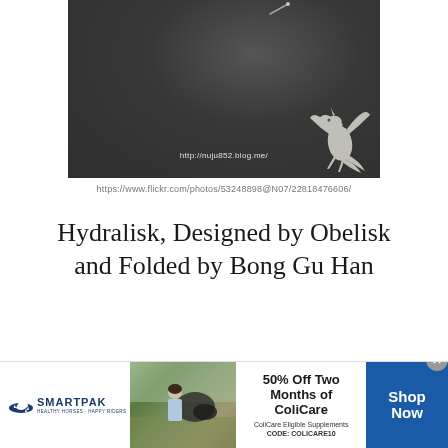[Figure (photo): Dark grey background photo with a white dragon logo watermark in the bottom right corner and the URL http://nuju852.blog.me/ overlaid in light text near the bottom center]
https://www.flickr.com/photos/53248898@N07/22818476606/
Hydralisk, Designed by Obelisk and Folded by Bong Gu Han
[Figure (photo): SmartPak advertisement banner: SmartPak horse-and-rider logo on left, center shows a photo of a person with a horse, text reads '50% Off Two Months of ColiCare ColiCare Eligible Supplements CODE: COLICARE10', blue Shop Now button on right, close X button]